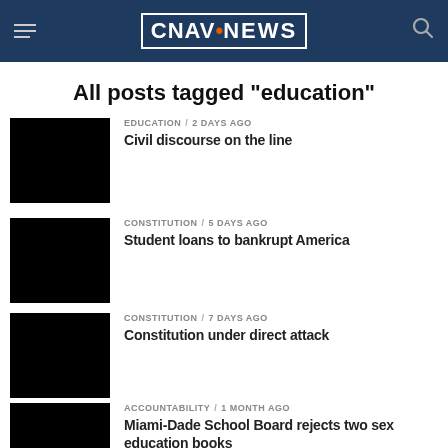CNAV.NEWS
All posts tagged "education"
EDUCATION / 2 days ago — Civil discourse on the line
CONSTITUTION / 5 days ago — Student loans to bankrupt America
CONSTITUTION / 7 days ago — Constitution under direct attack
ACCOUNTABILITY / 1 month ago — Miami-Dade School Board rejects two sex education books